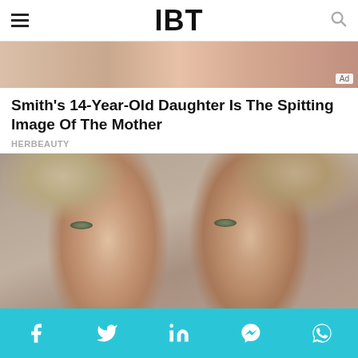IBT
[Figure (photo): Top advertisement banner showing partial photo of people]
Smith's 14-Year-Old Daughter Is The Spitting Image Of The Mother
HERBEAUTY
[Figure (photo): Close-up photo of two young twin girls with green eyes and light brown hair leaning together, facing the camera with neutral expressions]
What The World's Most Beautiful Twins Look Li...
Social share bar with Facebook, Twitter, LinkedIn, Messenger, WhatsApp icons